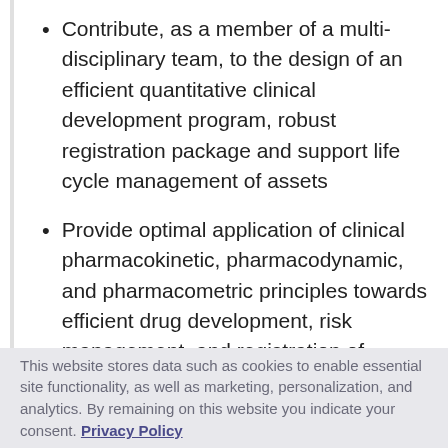Contribute, as a member of a multi-disciplinary team, to the design of an efficient quantitative clinical development program, robust registration package and support life cycle management of assets
Provide optimal application of clinical pharmacokinetic, pharmacodynamic, and pharmacometric principles towards efficient drug development, risk management, and registration of compounds
This website stores data such as cookies to enable essential site functionality, as well as marketing, personalization, and analytics. By remaining on this website you indicate your consent. Privacy Policy